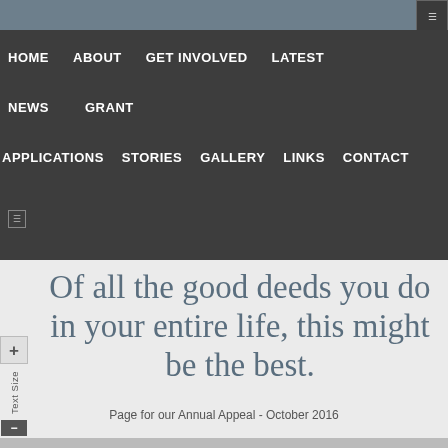Navigation bar: HOME | ABOUT | GET INVOLVED | LATEST | NEWS | GRANT | APPLICATIONS | STORIES | GALLERY | LINKS | CONTACT
Of all the good deeds you do in your entire life, this might be the best.
Page for our Annual Appeal - October 2016